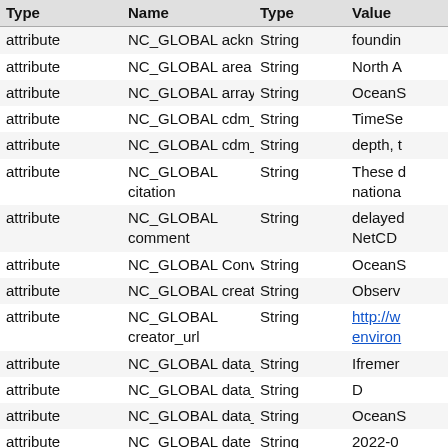| Type | Name | Type | Value (truncated) |
| --- | --- | --- | --- |
| attribute | NC_GLOBAL acknowledgement | String | foundin... |
| attribute | NC_GLOBAL area | String | North A... |
| attribute | NC_GLOBAL array | String | OceanS... |
| attribute | NC_GLOBAL cdm_data_type | String | TimeSe... |
| attribute | NC_GLOBAL cdm_timeseries_variables | String | depth, ... |
| attribute | NC_GLOBAL citation | String | These d... nationa... |
| attribute | NC_GLOBAL comment | String | delayed... NetCD... |
| attribute | NC_GLOBAL Conventions | String | OceanS... |
| attribute | NC_GLOBAL creator_name | String | Observ... |
| attribute | NC_GLOBAL creator_url | String | http://w... environ... |
| attribute | NC_GLOBAL data_assembly_center | String | Ifremer |
| attribute | NC_GLOBAL data_mode | String | D |
| attribute | NC_GLOBAL data_type | String | OceanS... |
| attribute | NC_GLOBAL date_created | String | 2022-0... |
| attribute | NC_GLOBAL date_modified | String | 2022-0... |
| attribute | NC_GLOBAL defaultGraphQuery | String | time%2... 22T00%... |
| attribute | NC_GLOBAL description | String | Merge... |